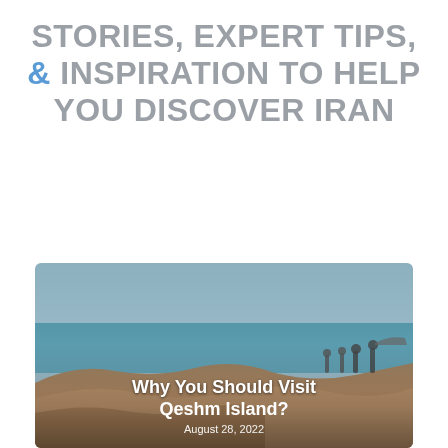STORIES, EXPERT TIPS, & INSPIRATION TO HELP YOU DISCOVER IRAN
[Figure (photo): Coastal landscape photo of Qeshm Island showing turquoise sea, rocky cliffs, hazy sky, and people on the right edge. Overlaid with bold white text 'Why You Should Visit Qeshm Island?' and date 'August 28, 2022'.]